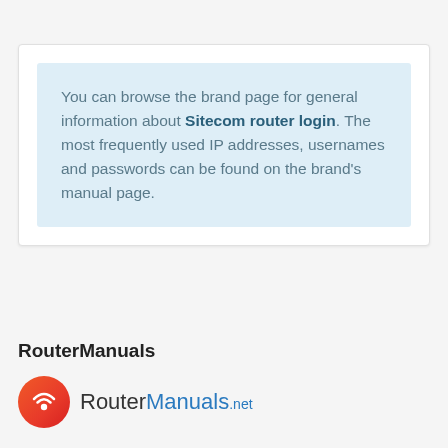You can browse the brand page for general information about Sitecom router login. The most frequently used IP addresses, usernames and passwords can be found on the brand's manual page.
RouterManuals
[Figure (logo): RouterManuals.net logo with red circular wifi icon and text RouterManuals.net]